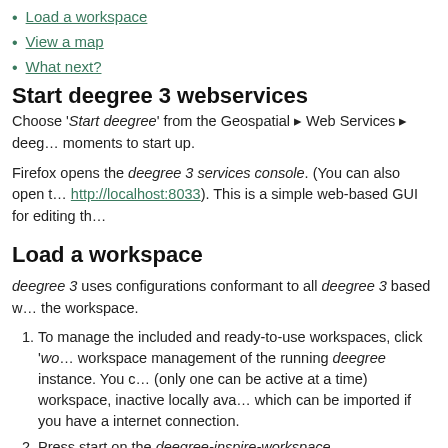Load a workspace
View a map
What next?
Start deegree 3 webservices
Choose 'Start deegree' from the Geospatial ▸ Web Services ▸ deeg… moments to start up.
Firefox opens the deegree 3 services console. (You can also open t… http://localhost:8033). This is a simple web-based GUI for editing th…
Load a workspace
deegree 3 uses configurations conformant to all deegree 3 based w… the workspace.
To manage the included and ready-to-use workspaces, click 'wo… workspace management of the running deegree instance. You c… (only one can be active at a time) workspace, inactive locally ava… which can be imported if you have a internet connection.
Press start on the deegree-inspire-workspace.